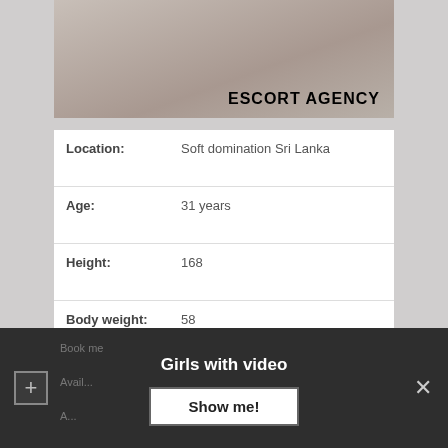[Figure (photo): Partial photo with ESCORT AGENCY text overlay]
| Field | Value |
| --- | --- |
| Location: | Soft domination Sri Lanka |
| Age: | 31 years |
| Height: | 168 |
| Body weight: | 58 |
| Available: | 10:00 – 20:00 |
| NIGHT: | Extra 60$ |
| Escort Preferences: | Naturism/Nudism, Facials♥, Facials |
| Outcall: | Anytime |
Girls with video
Show me!